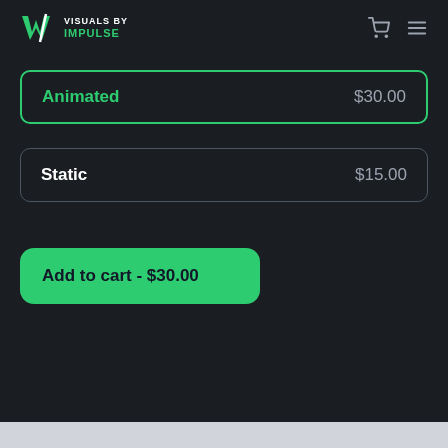VISUALS BY IMPULSE
Animated  $30.00
Static  $15.00
Add to cart - $30.00